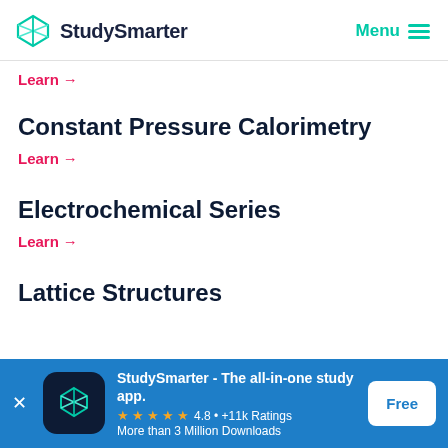StudySmarter — Menu
Learn →
Constant Pressure Calorimetry
Learn →
Electrochemical Series
Learn →
Lattice Structures
[Figure (screenshot): StudySmarter app download banner with logo, star rating 4.8 +11k Ratings, More than 3 Million Downloads, and Free button]